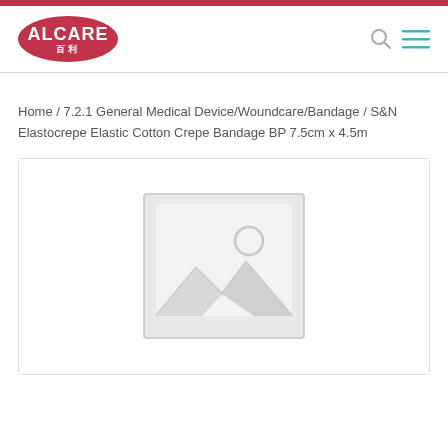[Figure (logo): Alcare logo - pink/red oval with ALCARE text and Chinese characters 百利]
Home / 7.2.1 General Medical Device/Woundcare/Bandage / S&N Elastocrepe Elastic Cotton Crepe Bandage BP 7.5cm x 4.5m
[Figure (photo): Placeholder product image - grey image placeholder icon with mountain/landscape and circle symbol]